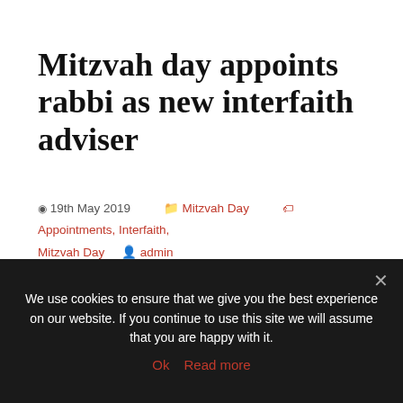Mitzvah day appoints rabbi as new interfaith adviser
19th May 2019   Mitzvah Day   Appointments, Interfaith, Mitzvah Day   admin
[Figure (screenshot): Jewish News website banner in red showing logo and article title 'Mitzvah day appoints rabbi as new interfaith adviser']
We use cookies to ensure that we give you the best experience on our website. If you continue to use this site we will assume that you are happy with it.
Ok   Read more